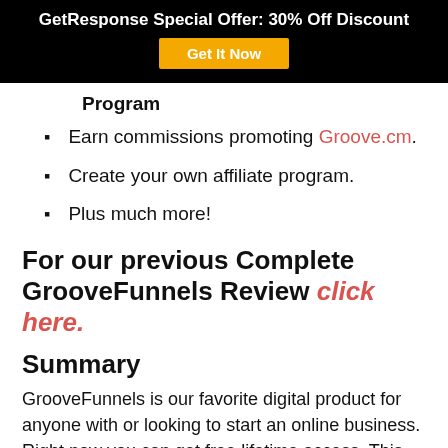GetResponse Special Offer: 30% Off Discount | Get It Now
Program
Earn commissions promoting Groove.cm.
Create your own affiliate program.
Plus much more!
For our previous Complete GrooveFunnels Review click here.
Summary
GrooveFunnels is our favorite digital product for anyone with or looking to start an online business. Right now you can get free lifetime access. This could be